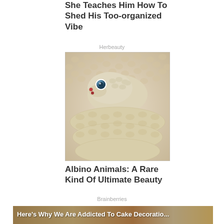She Teaches Him How To Shed His Too-organized Vibe
Herbeauty
[Figure (photo): Close-up photo of an albino snake with blue eye and pink/red markings on its face, coiled on itself showing cream-colored scaly texture]
Albino Animals: A Rare Kind Of Ultimate Beauty
Brainberries
[Figure (photo): Partially visible banner image of cake decorations with overlay text reading: Here's Why We Are Addicted To Cake Decoratio...]